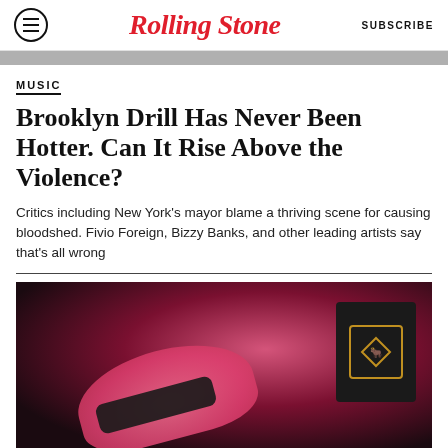Rolling Stone — SUBSCRIBE
MUSIC
Brooklyn Drill Has Never Been Hotter. Can It Rise Above the Violence?
Critics including New York's mayor blame a thriving scene for causing bloodshed. Fivio Foreign, Bizzy Banks, and other leading artists say that’s all wrong
[Figure (photo): Person wearing a pink cap and sunglasses inside a car, with a Lamborghini logo visible]